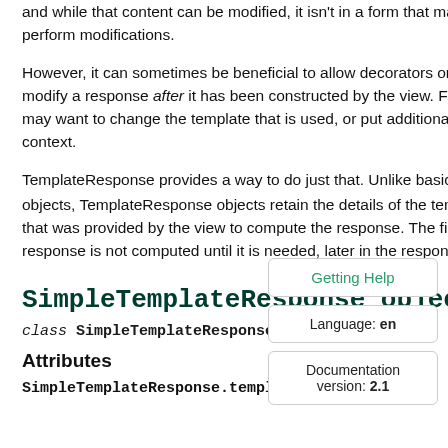and while that content can be modified, it isn't in a form that makes it easy to perform modifications.
However, it can sometimes be beneficial to allow decorators or middleware to modify a response after it has been constructed by the view. For example, you may want to change the template that is used, or put additional data into the context.
TemplateResponse provides a way to do just that. Unlike basic HttpResponse objects, TemplateResponse objects retain the details of the template and context that was provided by the view to compute the response. The final output of the response is not computed until it is needed, later in the response process.
SimpleTemplateResponse objects
class SimpleTemplateResponse[source]
Attributes
SimpleTemplateResponse.template_name